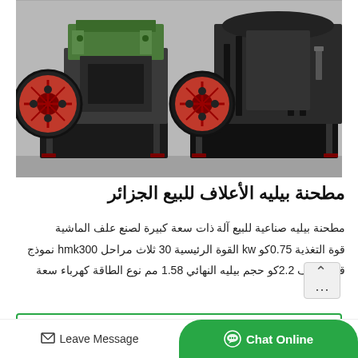[Figure (photo): Two large industrial crushing/grinding machines (pellet mills or hammer mills) mounted on black metal frames, photographed in a warehouse or factory setting. The machines are gray with green and red accents. Large red flywheel discs are visible on each machine.]
مطحنة بيليه الأعلاف للبيع الجزائر
مطحنة بيليه صناعية للبيع آلة ذات سعة كبيرة لصنع علف الماشية قوة التغذية 0.75كو kw القوة الرئيسية 30 ثلاث مراحل hmk300 نموذج قوة مكيف 2.2كو حجم بيليه النهائي 1.58 مم نوع الطاقة كهرباء سعة
Read More